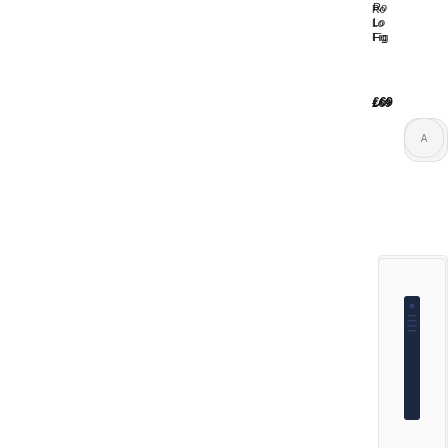Ro Lo Fig
£69
[Figure (photo): Small white rounded square button/device]
[Figure (photo): Dark/black slim rectangular device standing upright]
Cry Co Wi set
£29
[Figure (photo): Small white rounded square button/device]
[Figure (photo): White packaging with teal/cyan colored product visible]
Ro Me Bu